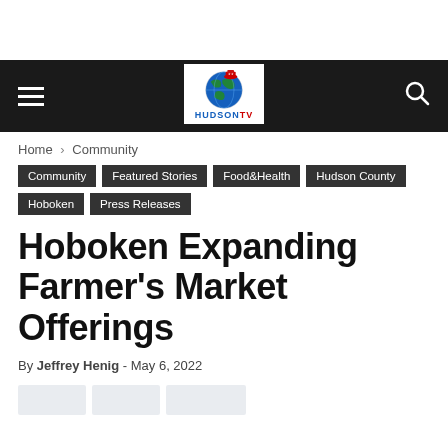HudsonTV navigation bar with hamburger menu, HudsonTV logo, and search icon
Home › Community
Community
Featured Stories
Food&Health
Hudson County
Hoboken
Press Releases
Hoboken Expanding Farmer's Market Offerings
By Jeffrey Henig - May 6, 2022